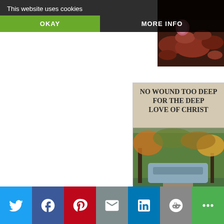This website uses cookies
OKAY
MORE INFO
[Figure (photo): Close-up photo of reddish rocks and stones]
[Figure (photo): Book cover: 'No Wound Too Deep For The Deep Love Of Christ' by Lisa Buffaloe, featuring a scenic river path with autumn trees]
[Figure (infographic): Social sharing buttons: Twitter, Facebook, Pinterest, Email, LinkedIn, Reddit, More]